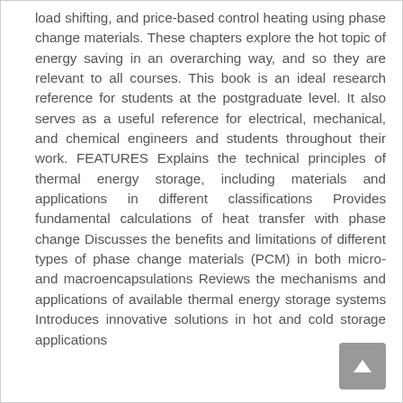load shifting, and price-based control heating using phase change materials. These chapters explore the hot topic of energy saving in an overarching way, and so they are relevant to all courses. This book is an ideal research reference for students at the postgraduate level. It also serves as a useful reference for electrical, mechanical, and chemical engineers and students throughout their work. FEATURES Explains the technical principles of thermal energy storage, including materials and applications in different classifications Provides fundamental calculations of heat transfer with phase change Discusses the benefits and limitations of different types of phase change materials (PCM) in both micro- and macroencapsulations Reviews the mechanisms and applications of available thermal energy storage systems Introduces innovative solutions in hot and cold storage applications